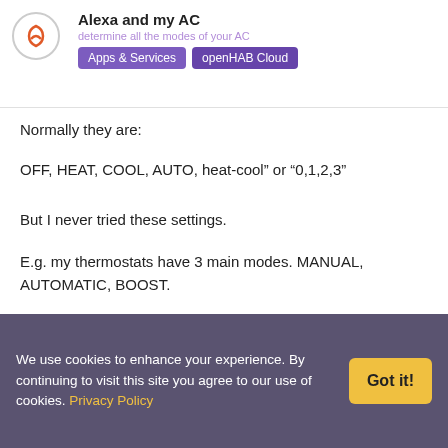Alexa and my AC | Apps & Services | openHAB Cloud
Normally they are:
OFF, HEAT, COOL, AUTO, heat-cool” or “0,1,2,3”
But I never tried these settings.
E.g. my thermostats have 3 main modes. MANUAL, AUTOMATIC, BOOST.
I created a rule.
mitabrev
Mario
Aug ’19
We use cookies to enhance your experience. By continuing to visit this site you agree to our use of cookies. Privacy Policy